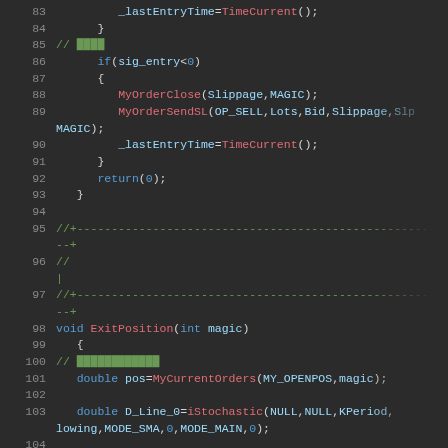[Figure (screenshot): Code editor screenshot showing MQL/C++ code lines 83-106, dark theme with syntax highlighting. Shows trading algorithm code with functions like MyOrderClose, MyOrderSendSL, ExitPosition, iStochastic, iMACD.]